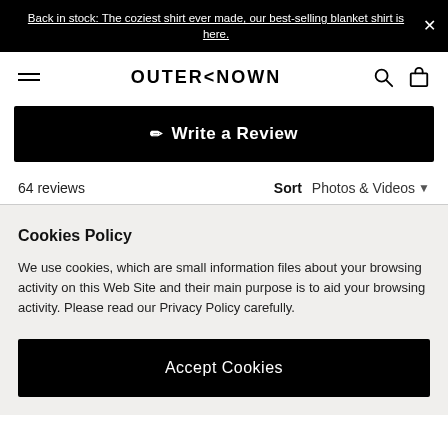Back in stock: The coziest shirt ever made, our best-selling blanket shirt is here.
[Figure (logo): OUTERKNOWN brand logo with hamburger menu, search icon, and bag icon]
✏ Write a Review
64 reviews  Sort  Photos & Videos
Cookies Policy
We use cookies, which are small information files about your browsing activity on this Web Site and their main purpose is to aid your browsing activity. Please read our Privacy Policy carefully.
Accept Cookies